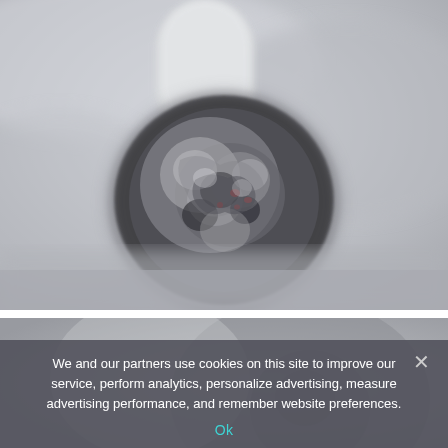[Figure (photo): Close-up macro photograph of the burning end of a cigarette showing gray and dark ash with smoldering embers (small red glowing spots), with a blurred gray background. The cigarette tip is highly detailed with charred, crackling ash texture.]
[Figure (photo): Partially visible second photograph below, showing a blurred/faded image, mostly obscured by the cookie consent overlay.]
We and our partners use cookies on this site to improve our service, perform analytics, personalize advertising, measure advertising performance, and remember website preferences.
Ok